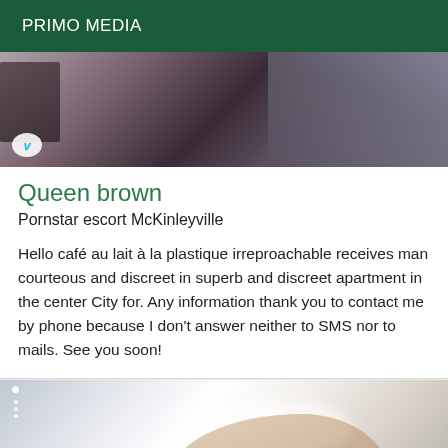PRIMO MEDIA
[Figure (photo): Top portion of a photo showing a dark, partially obscured scene with a Vimeo logo watermark in the lower left corner]
Queen brown
Pornstar escort McKinleyville
Hello café au lait à la plastique irreproachable receives man courteous and discreet in superb and discreet apartment in the center City for. Any information thank you to contact me by phone because I don't answer neither to SMS nor to mails. See you soon!
[Figure (photo): Bottom photo showing a bright overexposed image with a person's hand and shoulder area visible, bright light in upper center]